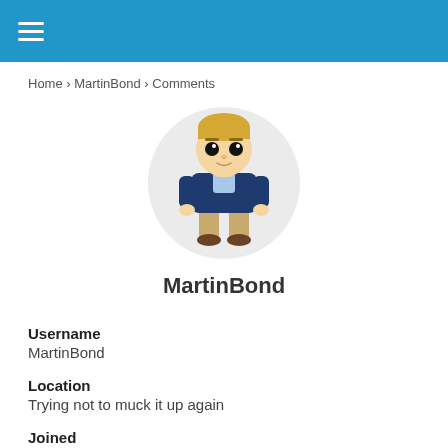≡ (hamburger menu)
Home › MartinBond › Comments
[Figure (illustration): Circular avatar showing a Funko Pop-style cartoon figure of a blonde male wearing a navy blazer and khaki pants, standing on a light grey circular background.]
MartinBond
Username
MartinBond
Location
Trying not to muck it up again
Joined